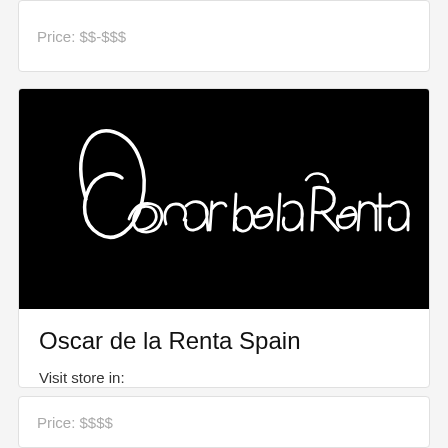Price: $$-$$$
[Figure (logo): Oscar de la Renta signature logo in white script on black background]
Oscar de la Renta Spain
Visit store in:
English
Price: $$$$